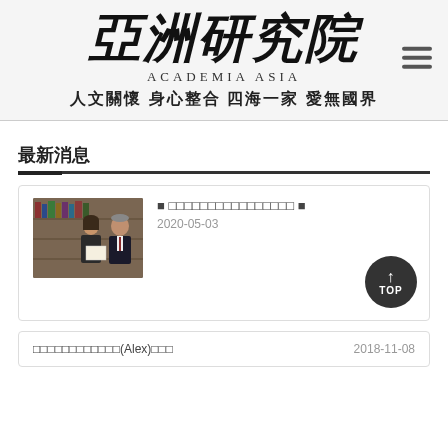亞洲研究院 ACADEMIA ASIA 人文關懷 身心整合 四海一家 愛無國界
最新消息
[Figure (photo): Photo of a woman and a man, the woman holding a certificate/diploma, standing in front of bookshelves]
■ □□□□□□□□□□□□□□□□ ■   2020-05-03
□□□□□□□□□□□□(Alex)□□□   2018-11-08